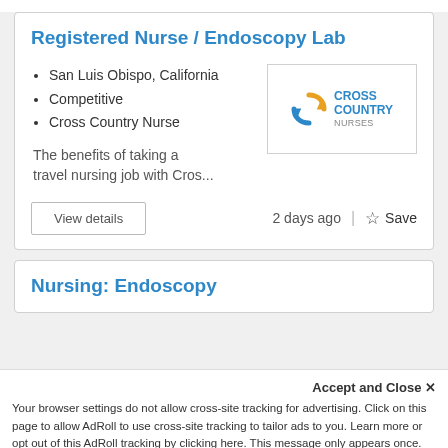Registered Nurse / Endoscopy Lab
San Luis Obispo, California
Competitive
Cross Country Nurse
[Figure (logo): Cross Country Nurses logo with circular arrow icon in orange and blue]
The benefits of taking a travel nursing job with Cros...
View details
2 days ago
Save
Nursing: Endoscopy
Accept and Close ✕
Your browser settings do not allow cross-site tracking for advertising. Click on this page to allow AdRoll to use cross-site tracking to tailor ads to you. Learn more or opt out of this AdRoll tracking by clicking here. This message only appears once.